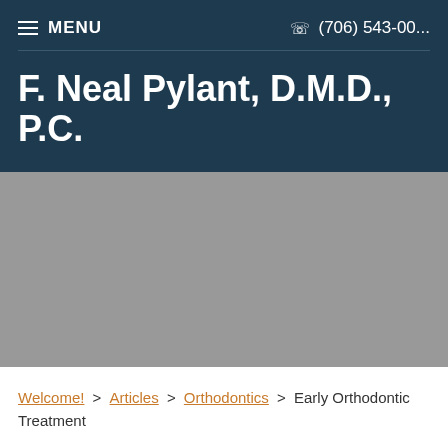≡ MENU   ☎ (706) 543-00...
F. Neal Pylant, D.M.D., P.C.
[Figure (photo): Gray placeholder hero image area for dental office]
Welcome! > Articles > Orthodontics > Early Orthodontic Treatment